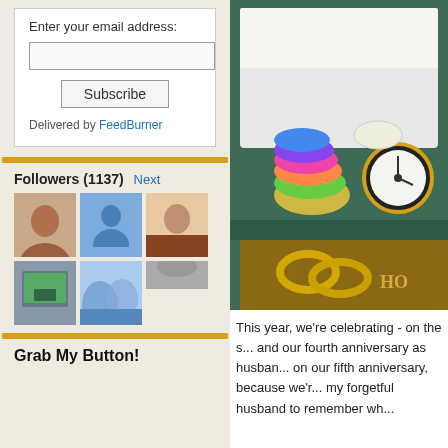Enter your email address:
Delivered by FeedBurner
Followers (1137) Next
[Figure (photo): Grid of follower avatar photos including people and scenery]
Grab My Button!
[Figure (photo): Jewelry and accessories in a teal box including colorful bangles, a watch, and gold rings, placed on a wooden surface with text 'HO...']
This year, we're celebrating - on the s... and our fourth anniversary as husban... on our fifth anniversary, because we'r... my forgetful husband to remember wh...